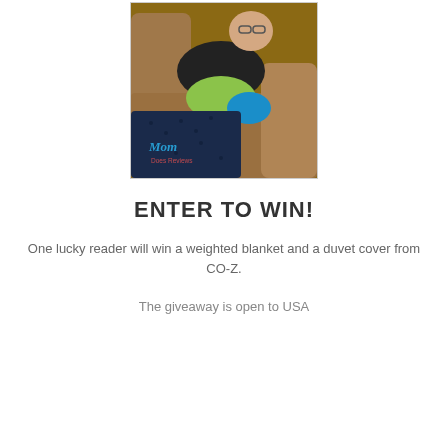[Figure (photo): A person reclining on a brown leather couch holding a green and blue plush stuffed animal, with a dark navy weighted blanket, and a watermark reading 'Mom Does Reviews' in the lower left corner.]
ENTER TO WIN!
One lucky reader will win a weighted blanket and a duvet cover from CO-Z.
The giveaway is open to USA